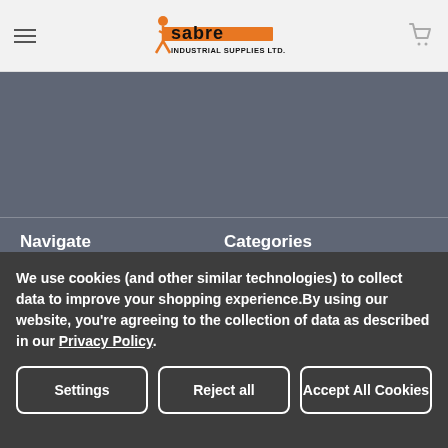Sabre Industrial Supplies Ltd. — navigation header with logo and cart icon
Navigate
Vending Machine Solutions
Promos & Specials
Contact Us
Technical Information
Order Management
Categories
Todays Deals
Abrasives
Adhesives, Sealants And Tape
Automotive Maintenance
Chemicals
We use cookies (and other similar technologies) to collect data to improve your shopping experience.By using our website, you're agreeing to the collection of data as described in our Privacy Policy.
Settings | Reject all | Accept All Cookies